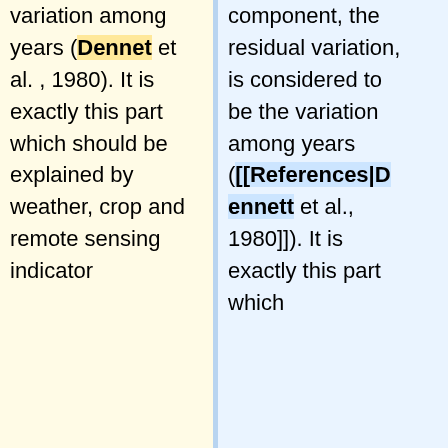variation among years (Dennet et al. , 1980). It is exactly this part which should be explained by weather, crop and remote sensing indicator
component, the residual variation, is considered to be the variation among years ([[References|Dennett et al., 1980]]). It is exactly this part which